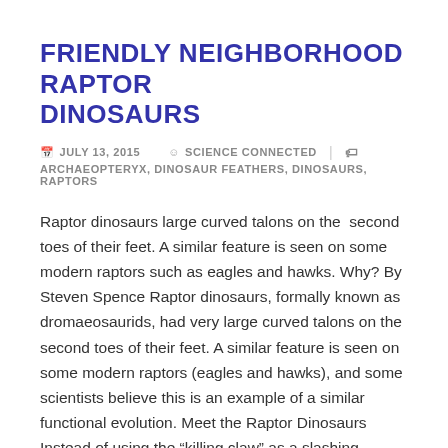FRIENDLY NEIGHBORHOOD RAPTOR DINOSAURS
JULY 13, 2015   SCIENCE CONNECTED   ARCHAEOPTERYX, DINOSAUR FEATHERS, DINOSAURS, RAPTORS
Raptor dinosaurs large curved talons on the  second toes of their feet. A similar feature is seen on some modern raptors such as eagles and hawks. Why? By Steven Spence Raptor dinosaurs, formally known as dromaeosaurids, had very large curved talons on the  second toes of their feet. A similar feature is seen on some modern raptors (eagles and hawks), and some scientists believe this is an example of a similar functional evolution. Meet the Raptor Dinosaurs Instead of using the “killing claw” as a slashing weapon, as suggested in...